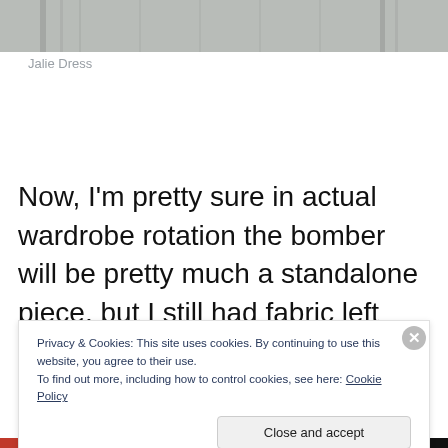[Figure (photo): Top portion of a photo showing a person wearing a dress near a wall or curtain backdrop — only the bottom of the image is visible as a grey strip.]
Jalie Dress
Now, I'm pretty sure in actual wardrobe rotation the bomber will be pretty much a standalone piece, but I still had fabric left over, and a hankering for a matching little
Privacy & Cookies: This site uses cookies. By continuing to use this website, you agree to their use.
To find out more, including how to control cookies, see here: Cookie Policy
Close and accept